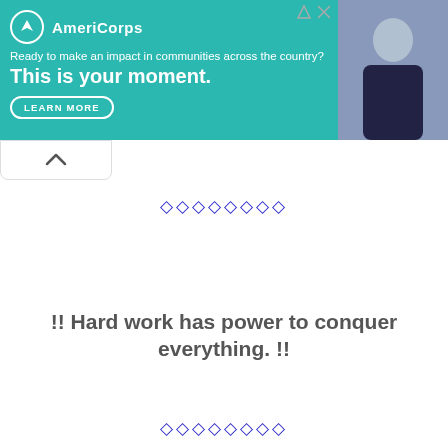[Figure (illustration): AmeriCorps advertisement banner with teal background, logo, tagline 'Ready to make an impact in communities across the country?', headline 'This is your moment.', LEARN MORE button, and photo of a person on the right.]
◇◇◇◇◇◇◇◇
!! Hard work has power to conquer everything. !!
◇◇◇◇◇◇◇◇